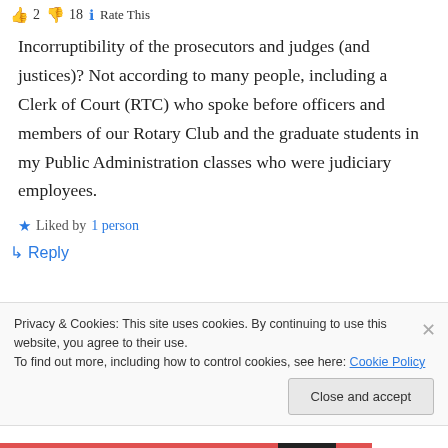👍 2 👎 18 ℹ Rate This
Incorruptibility of the prosecutors and judges (and justices)? Not according to many people, including a Clerk of Court (RTC) who spoke before officers and members of our Rotary Club and the graduate students in my Public Administration classes who were judiciary employees.
★ Liked by 1 person
↳ Reply
Privacy & Cookies: This site uses cookies. By continuing to use this website, you agree to their use.
To find out more, including how to control cookies, see here: Cookie Policy
Close and accept